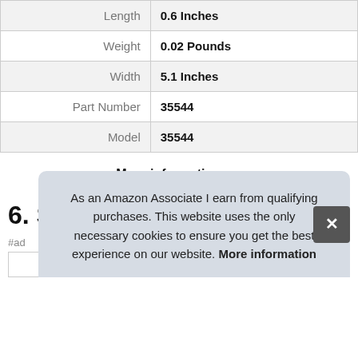| Label | Value |
| --- | --- |
| Length | 0.6 Inches |
| Weight | 0.02 Pounds |
| Width | 5.1 Inches |
| Part Number | 35544 |
| Model | 35544 |
More information #ad
6. SHARPIE
#ad
As an Amazon Associate I earn from qualifying purchases. This website uses the only necessary cookies to ensure you get the best experience on our website. More information